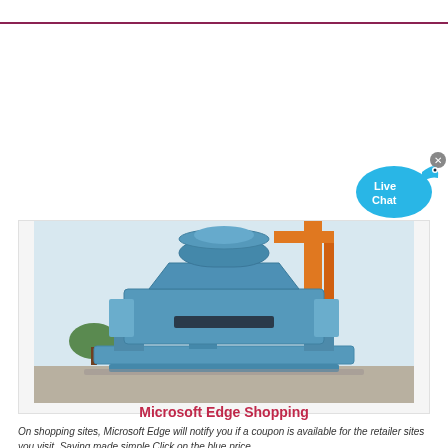[Figure (photo): Industrial blue VSI (vertical shaft impact) crusher/sand making machine on a concrete platform outdoors, with orange crane structure visible in background]
Microsoft Edge Shopping
On shopping sites, Microsoft Edge will notify you if a coupon is available for the retailer sites you visit. Saving made simple Click on the blue price